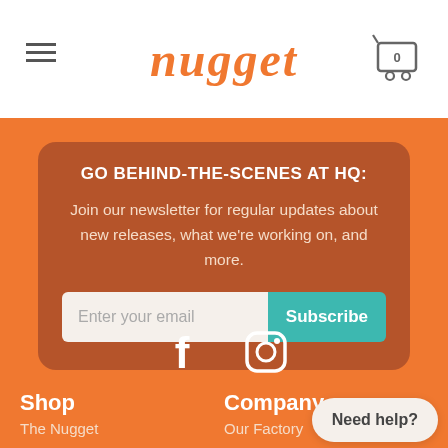nugget (logo) with hamburger menu and cart icon
GO BEHIND-THE-SCENES AT HQ:
Join our newsletter for regular updates about new releases, what we're working on, and more.
Enter your email | Subscribe
[Figure (illustration): Facebook and Instagram social media icons]
Shop
Company
The Nugget
Our Factory
Need help?